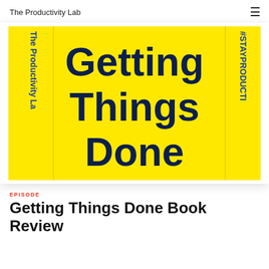The Productivity Lab
[Figure (illustration): Yellow book cover with dark navy bold text reading 'Getting Things Done'. Left spine shows 'The Productivity La...' in blue vertical text. Right side shows '#STAYPRODUCTI...' in blue vertical text. Yellow background throughout.]
EPISODE
Getting Things Done Book Review